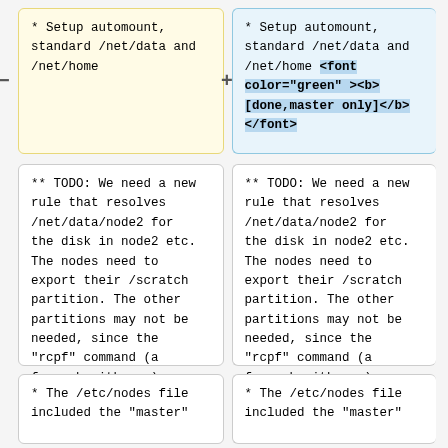* Setup automount, standard /net/data and /net/home
* Setup automount, standard /net/data and /net/home <font color="green" ><b>[done,master only]</b></font>
** TODO: We need a new rule that resolves /net/data/node2 for the disk in node2 etc. The nodes need to export their /scratch partition. The other partitions may not be needed, since the "rcpf" command (a foreach with rcp) can copy files in batch.
** TODO: We need a new rule that resolves /net/data/node2 for the disk in node2 etc. The nodes need to export their /scratch partition. The other partitions may not be needed, since the "rcpf" command (a foreach with rcp) can copy files in batch.
* The /etc/nodes file included the "master"
* The /etc/nodes file included the "master"